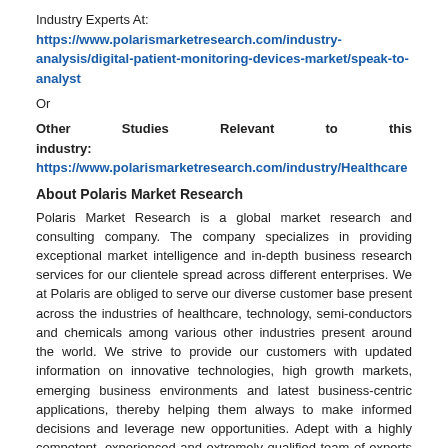Industry Experts At: https://www.polarismarketresearch.com/industry-analysis/digital-patient-monitoring-devices-market/speak-to-analyst
Or
Other Studies Relevant to this industry: https://www.polarismarketresearch.com/industry/Healthcare
About Polaris Market Research
Polaris Market Research is a global market research and consulting company. The company specializes in providing exceptional market intelligence and in-depth business research services for our clientele spread across different enterprises. We at Polaris are obliged to serve our diverse customer base present across the industries of healthcare, technology, semi-conductors and chemicals among various other industries present around the world. We strive to provide our customers with updated information on innovative technologies, high growth markets, emerging business environments and latest business-centric applications, thereby helping them always to make informed decisions and leverage new opportunities. Adept with a highly competent, experienced and extremely qualified team of experts comprising SMEs, analysts and consultants, we at Polaris endeavour to deliver value-added business solutions to our customers.